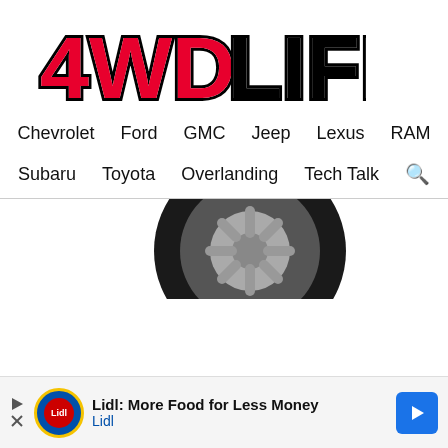[Figure (logo): 4WD LIFE logo in red and black stylized text]
Chevrolet   Ford   GMC   Jeep   Lexus   RAM
Subaru   Toyota   Overlanding   Tech Talk
[Figure (photo): Partial view of a vehicle tire/wheel in black and silver]
[Figure (other): Advertisement banner: Lidl: More Food for Less Money - Lidl]